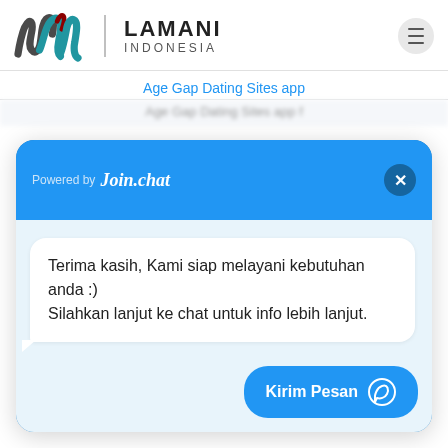[Figure (logo): Lamani Indonesia logo with stylized 'lw' mark in dark grey and teal with red accent, and text LAMANI INDONESIA]
Age Gap Dating Sites app
[Figure (screenshot): Join.chat widget popup showing message: 'Terima kasih, Kami siap melayani kebutuhan anda :) Silahkan lanjut ke chat untuk info lebih lanjut.' with a 'Kirim Pesan' send button at bottom right]